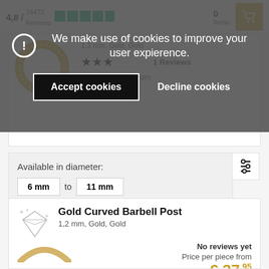4,8 / 14472 Reviews | 0 Items
We make use of cookies to improve your user expierence.
Accept cookies | Decline cookies
1,2 mm, Gold, Gold
★★★ 1 Reviews
Price per piece from
€ 105,00
Available in diameter:
6 mm to 11 mm
Gold Curved Barbell Post
1,2 mm, Gold, Gold
No reviews yet
Price per piece from
€ 37,95